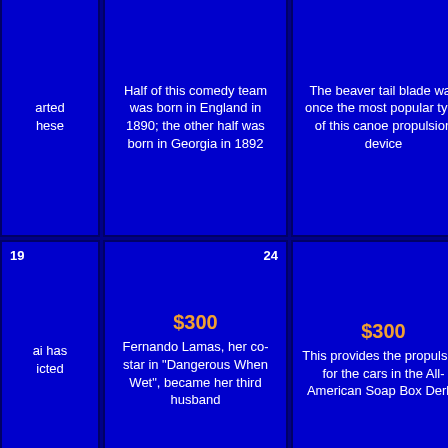[Figure (screenshot): Jeopardy game board showing a 4-column grid with clues. Row 1 (top, partially visible): clues about comedy team, beaver tail blade canoe paddle, and novel. Row 2: $300 clues - Fernando Lamas/Esther Williams, Soap Box Derby propulsion, extreme poverty Hepzibah/Hawthorne. Row 3: $400 clues - 1939 Englishman with Bergman/Leigh, moped word origin, gang Bill Sykes. Numbers visible: 19, 24, 14, 20, 25, 15. Daily Double in last column row 3.]